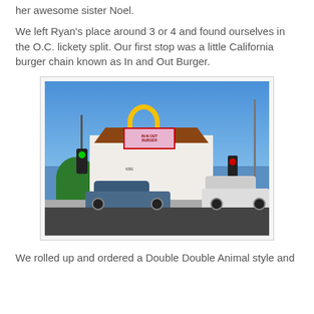her awesome sister Noel.
We left Ryan's place around 3 or 4 and found ourselves in the O.C. lickety split. Our first stop was a little California burger chain known as In and Out Burger.
[Figure (photo): Exterior photograph of an In-N-Out Burger restaurant at a street corner, showing the yellow arrow sign, the pink In-N-Out Burger sign on the building, cars in the foreground, traffic lights, and a blue sky.]
We rolled up and ordered a Double Double Animal style and